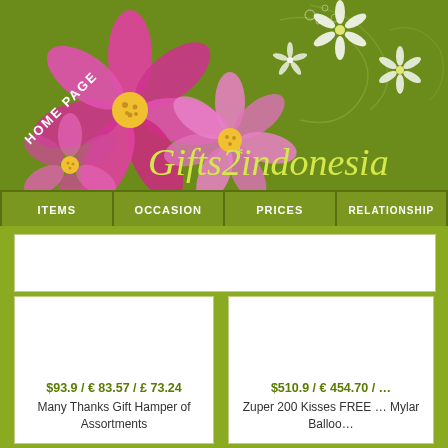[Figure (illustration): Green floral banner header with pink cosmos flowers on the left and white floral decorations on the right. Diagonal 'HOME PAGE' text on the left side.]
Gifts2indonesia
ITEMS | OCCASION | PRICES | RELATIONSHIP
$93.9 / € 83.57 / £ 73.24
Many Thanks Gift Hamper of Assortments
$510.9 / € 454.70 / ...
Zuper 200 Kisses FREE... Mylar Balloo...